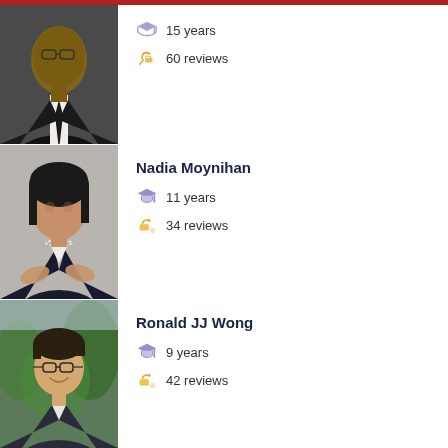[Figure (photo): Professional headshot of a man in a black suit and tie, dark background]
15 years
60 reviews
Nadia Moynihan
[Figure (photo): Professional photo of a woman with long dark hair in a black dress, arms crossed]
11 years
34 reviews
Ronald JJ Wong
[Figure (photo): Photo of a young man wearing glasses and a suit, smiling, with green trees in background]
9 years
42 reviews